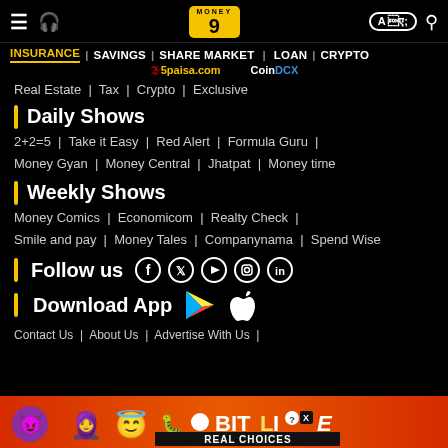Money9 — INSURANCE | SAVINGS | SHARE MARKET | LOAN | CRYPTO
Real Estate | Tax | Crypto | Exclusive
Daily Shows
2+2=5 | Take it Easy | Red Alert | Formula Guru | Money Gyan | Money Central | Jhatpat | Money time
Weekly Shows
Money Comics | Economicom | Realty Check | Smile and pay | Money Tales | Companynama | Spend Wise
Follow us
Download App
Contact Us | About Us | Advertise With Us |
[Figure (screenshot): BitLife REAL CHOICES advertisement banner at the bottom of the page]